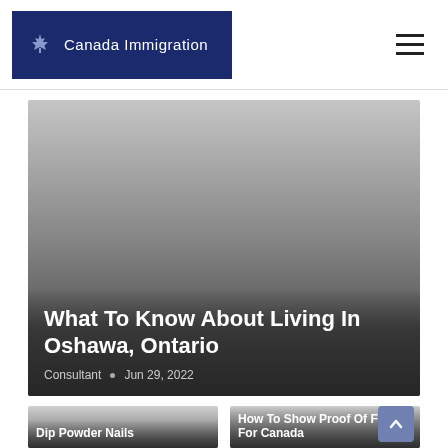Canada Immigration
[Figure (photo): Featured article image with dark gradient overlay showing city/landscape, with title 'What To Know About Living In Oshawa, Ontario' and meta 'Consultant · Jun 29, 2022']
What To Know About Living In Oshawa, Ontario
Consultant • Jun 29, 2022
[Figure (photo): Article card image for 'Dip Powder Nails' with dark gradient overlay]
[Figure (photo): Article card image for 'How To Show Proof Of Funds For Canada' with dark gradient overlay]